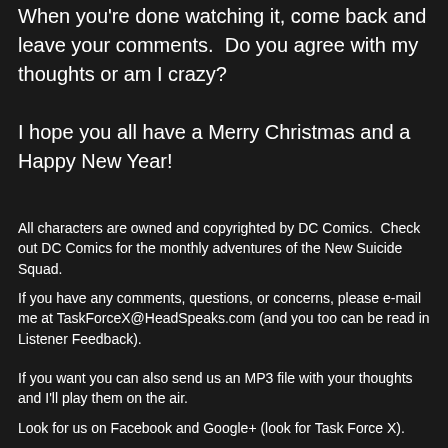When you're done watching it, come back and leave your comments.  Do you agree with my thoughts or am I crazy?
I hope you all have a Merry Christmas and a Happy New Year!
All characters are owned and copyrighted by DC Comics.  Check out DC Comics for the monthly adventures of the New Suicide Squad.
If you have any comments, questions, or concerns, please e-mail me at TaskForceX@HeadSpeaks.com (and you too can be read in Listener Feedback).
If you want you can also send us an MP3 file with your thoughts and I'll play them on the air.
Look for us on Facebook and Google+ (look for Task Force X).
Make sure to tell a friend and check back next month when we review Suicide Squad issues 2 and 3 and do Character Profiles on Captain